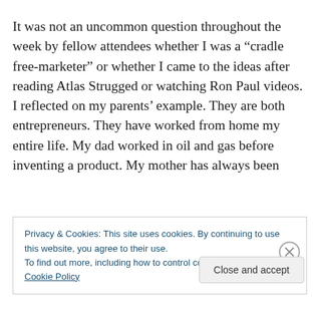It was not an uncommon question throughout the week by fellow attendees whether I was a “cradle free-marketer” or whether I came to the ideas after reading Atlas Strugged or watching Ron Paul videos. I reflected on my parents’ example. They are both entrepreneurs. They have worked from home my entire life. My dad worked in oil and gas before inventing a product. My mother has always been
Privacy & Cookies: This site uses cookies. By continuing to use this website, you agree to their use.
To find out more, including how to control cookies, see here: Cookie Policy
Close and accept